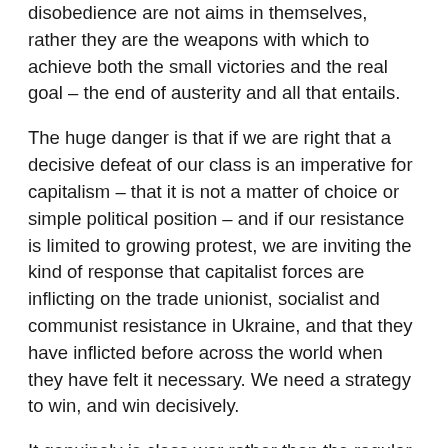disobedience are not aims in themselves, rather they are the weapons with which to achieve both the small victories and the real goal – the end of austerity and all that entails.
The huge danger is that if we are right that a decisive defeat of our class is an imperative for capitalism – that it is not a matter of choice or simple political position – and if our resistance is limited to growing protest, we are inviting the kind of response that capitalist forces are inflicting on the trade unionist, socialist and communist resistance in Ukraine, and that they have inflicted before across the world when they have felt it necessary. We need a strategy to win, and win decisively.
It genuinely is class war rather than the regular day-to-day class struggle than characterises capitalism per se.
This ruling class war has seldom been more evident than in the 1980s, through the Thatcher and Reagan administrations. It was clearly recognised then by the NUM, among others in the movement, in the 1984-5 strike, which